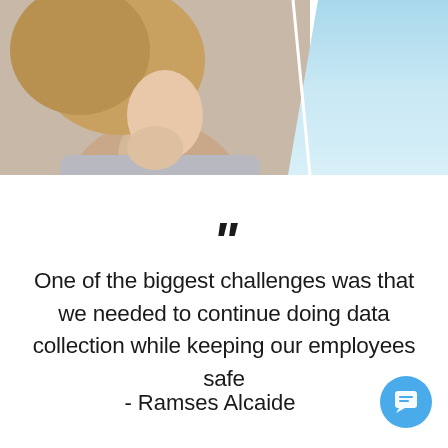[Figure (photo): Photo of a woman from the side/profile view against a light blue background, with the blue area forming a diagonal split on the right side.]
”
One of the biggest challenges was that we needed to continue doing data collection while keeping our employees safe
- Ramses Alcaide